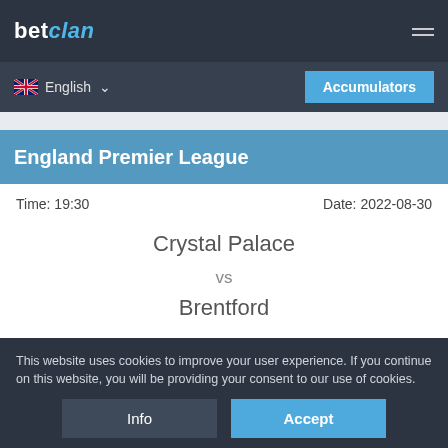betclan
English
Accumulators
England Premier League
Time: 19:30
Date: 2022-08-30
Crystal Palace vs Brentford
View Prediction
This website uses cookies to improve your user experience. If you continue on this website, you will be providing your consent to our use of cookies.
Info
Accept